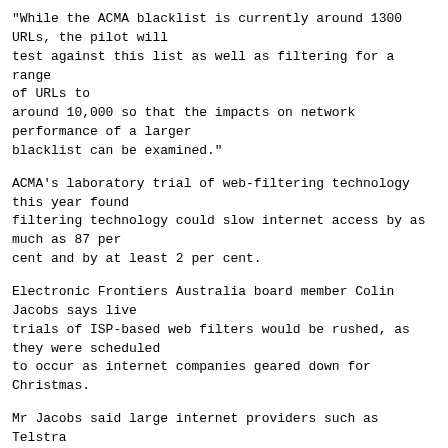"While the ACMA blacklist is currently around 1300 URLs, the pilot will test against this list as well as filtering for a range of URLs to around 10,000 so that the impacts on network performance of a larger blacklist can be examined."
ACMA's laboratory trial of web-filtering technology this year found filtering technology could slow internet access by as much as 87 per cent and by at least 2 per cent.
Electronic Frontiers Australia board member Colin Jacobs says live trials of ISP-based web filters would be rushed, as they were scheduled to occur as internet companies geared down for Christmas.
Mr Jacobs said large internet providers such as Telstra and Optus would find it difficult to participate, while mid-sized providers might take part in the trial simply to prove the technology "unfeasible".
Mr Jacobs said the civil liberties group was also concerned at what